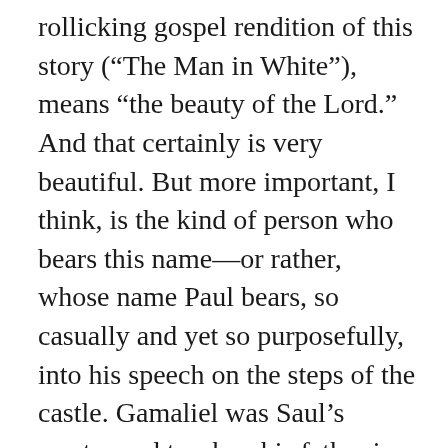rollicking gospel rendition of this story (“The Man in White”), means “the beauty of the Lord.” And that certainly is very beautiful. But more important, I think, is the kind of person who bears this name—or rather, whose name Paul bears, so casually and yet so purposefully, into his speech on the steps of the castle. Gamaliel was Saul’s master and teacher, his father in the faith. We are reminded here that Saul was not just any Jew, but a Pharisee: a passionate